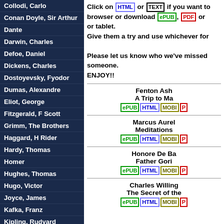Collodi, Carlo
Conan Doyle, Sir Arthur
Dante
Darwin, Charles
Defoe, Daniel
Dickens, Charles
Dostoyevsky, Fyodor
Dumas, Alexandre
Eliot, George
Fitzgerald, F Scott
Grimm, The Brothers
Haggard, H Rider
Hardy, Thomas
Homer
Hughes, Thomas
Hugo, Victor
Joyce, James
Kafka, Franz
Kipling, Rudyard
Lawrence, D H
Melville, Herman
Milton, John
Montgomery, Lucy Maud
Nesbit, Edith
Click on HTML or TEXT if you want to read in your browser or download ePUB, PDF or ... or tablet. Give them a try and use whichever format... Please let us know who we've missed ... someone. ENJOY!!
Fenton Ash
A Trip to Ma...
ePUB HTML MOBI P...
Marcus Aurel...
Meditations
ePUB HTML MOBI P...
Honore De Ba...
Father Gori...
ePUB HTML MOBI P...
Charles Willing...
The Secret of the...
ePUB HTML MOBI P...